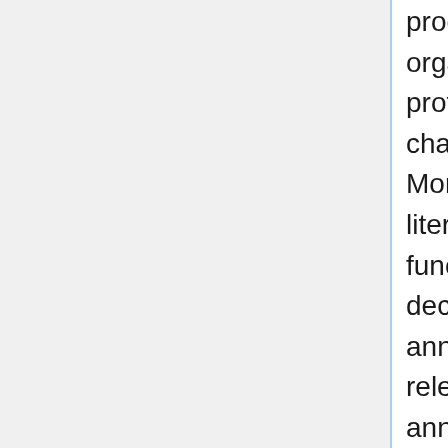process is the fact that for almost all model organisms, due to limited resources, not all proteins that have been experimentally characterized are completely annotated. Moreover, in several cases the most recent literature is annotated first, while the most basic functions of certain proteins might be known for decades. To address this, before beginning to annotate a protein family the curator reviews the relevant literature and skims the existing annotations. Based on this background knowledge, the PAINT curator may request curators from one or more of the GO Reference Genomes to assign additional experimental annotations before starting the annotation of the family.